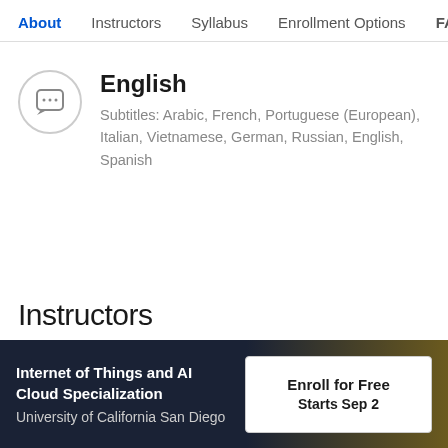About   Instructors   Syllabus   Enrollment Options   FAQ
English
Subtitles: Arabic, French, Portuguese (European), Italian, Vietnamese, German, Russian, English, Spanish
Instructors
Internet of Things and AI Cloud Specialization
University of California San Diego
Enroll for Free
Starts Sep 2